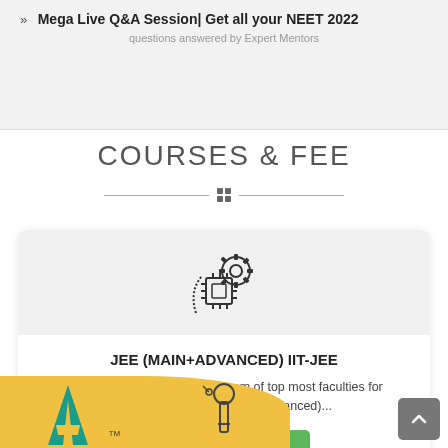» Mega Live Q&A Session| Get all your NEET 2022
COURSES & FEE
[Figure (illustration): Two horizontal lines with a grid/squares icon in the center as a decorative divider]
[Figure (illustration): Icon of a microchip/processor with a gear, representing engineering/technology courses]
JEE (MAIN+ADVANCED) IIT-JEE
ALLEN is equipped with the team of top most faculties for preparation of JEE (Main+Advanced)...
View Courses
[Figure (logo): ALLEN logo with teal/green A letter on yellow background at bottom]
[Figure (illustration): Wrench/tools icon at the bottom center]